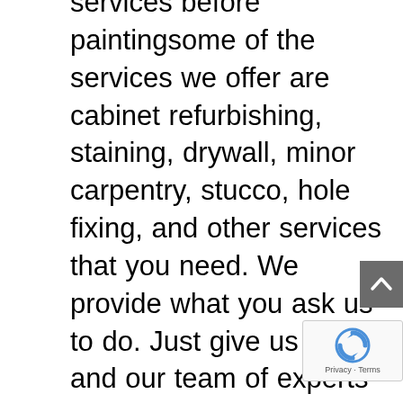services before paintingsome of the services we offer are cabinet refurbishing, staining, drywall, minor carpentry, stucco, hole fixing, and other services that you need. We provide what you ask us to do. Just give us a call and our team of experts will be right there to help you. You can call us at (561) 567-8815 or send us an email at westpalmbeachpaintingpros@gmail.com for any inquiries regarding our services. Our online form is also available if you want to leave us a comment for improvement. We not just do the work, we also listen to suggestions from our clients for the